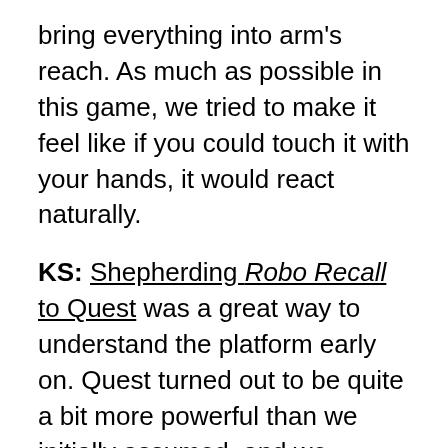bring everything into arm's reach. As much as possible in this game, we tried to make it feel like if you could touch it with your hands, it would react naturally.
KS: Shepherding Robo Recall to Quest was a great way to understand the platform early on. Quest turned out to be quite a bit more powerful than we initially assumed, and we carried that new courage into Lies Beneath.
KK: It's an obvious answer to the use of audio in VR, but interacting with objects and environment always brings a sense of grounded reality to the experience, so we